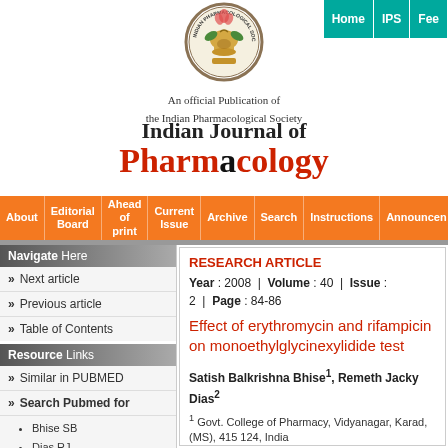Home | IPS | Fee
[Figure (logo): Indian Pharmacological Society circular logo/seal]
An official Publication of the Indian Pharmacological Society
Indian Journal of Pharmacology
About | Editorial Board | Ahead of print | Current Issue | Archive | Search | Instructions | Announcements
Navigate Here - Next article
Navigate Here - Previous article
Navigate Here - Table of Contents
Resource Links
Similar in PUBMED
Search Pubmed for
Bhise SB
Dias RJ
Search in Google Scholar for
RESEARCH ARTICLE
Year : 2008 | Volume : 40 | Issue : 2 | Page : 84-86
Effect of erythromycin and rifampicin on monoethylglycinexylidide test
Satish Balkrishna Bhise1, Remeth Jacky Dias2
1 Govt. College of Pharmacy, Vidyanagar, Karad, (MS), 415 124, India